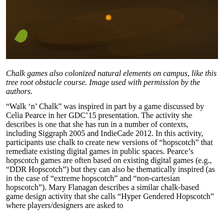[Figure (photo): Close-up photograph of tree roots forming a natural obstacle course on campus, with a small light or firefly visible among the dark, twisted roots.]
Chalk games also colonized natural elements on campus, like this tree root obstacle course. Image used with permission by the authors.
“Walk ‘n’ Chalk” was inspired in part by a game discussed by Celia Pearce in her GDC’15 presentation. The activity she describes is one that she has run in a number of contexts, including Siggraph 2005 and IndieCade 2012. In this activity, participants use chalk to create new versions of “hopscotch” that remediate existing digital games in public spaces. Pearce’s hopscotch games are often based on existing digital games (e.g., “DDR Hopscotch”) but they can also be thematically inspired (as in the case of “extreme hopscotch” and “non-cartesian hopscotch”). Mary Flanagan describes a similar chalk-based game design activity that she calls “Hyper Gendered Hopscotch” where players/designers are asked to